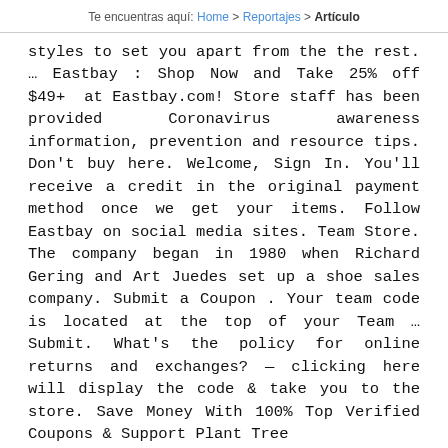Te encuentras aquí: Home > Reportajes > Artículo
styles to set you apart from the the rest. … Eastbay : Shop Now and Take 25% off $49+ at Eastbay.com! Store staff has been provided Coronavirus awareness information, prevention and resource tips. Don't buy here. Welcome, Sign In. You'll receive a credit in the original payment method once we get your items. Follow Eastbay on social media sites. Team Store. The company began in 1980 when Richard Gering and Art Juedes set up a shoe sales company. Submit a Coupon . Your team code is located at the top of your Team … Submit. What's the policy for online returns and exchanges? — clicking here will display the code & take you to the store. Save Money With 100% Top Verified Coupons & Support Plant Tree